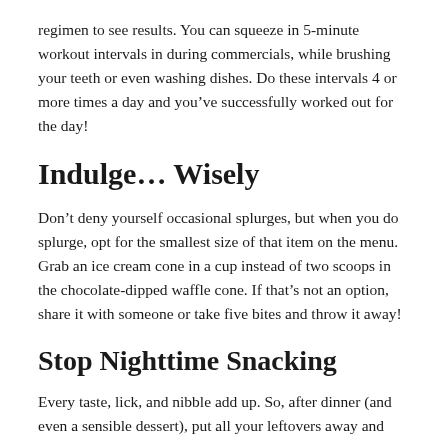regimen to see results. You can squeeze in 5-minute workout intervals in during commercials, while brushing your teeth or even washing dishes. Do these intervals 4 or more times a day and you’ve successfully worked out for the day!
Indulge… Wisely
Don’t deny yourself occasional splurges, but when you do splurge, opt for the smallest size of that item on the menu. Grab an ice cream cone in a cup instead of two scoops in the chocolate-dipped waffle cone. If that’s not an option, share it with someone or take five bites and throw it away!
Stop Nighttime Snacking
Every taste, lick, and nibble add up. So, after dinner (and even a sensible dessert), put all your leftovers away and clean the kitchen for the night. Set a timer…